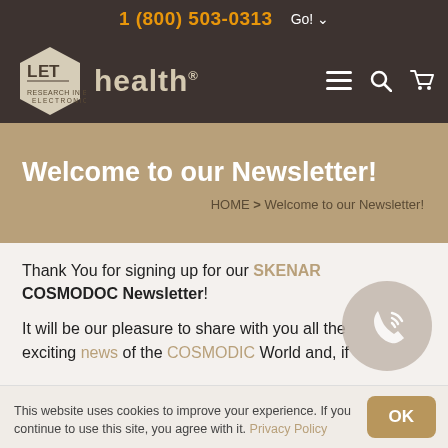1 (800) 503-0313   Go!
[Figure (logo): LET Health logo — hexagon with LET letters and 'health' wordmark, subtitle: RESEARCH IN BIOMEDICAL ELECTRONICS]
Welcome to our Newsletter!
HOME > Welcome to our Newsletter!
Thank You for signing up for our SKENAR COSMODOC Newsletter!
It will be our pleasure to share with you all the exciting news of the COSMODIC World and, if
This website uses cookies to improve your experience. If you continue to use this site, you agree with it. Privacy Policy